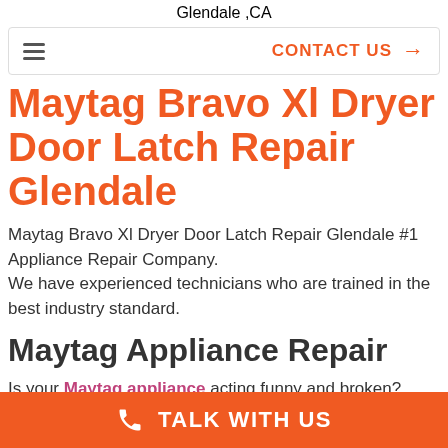Glendale ,CA
CONTACT US →
Maytag Bravo Xl Dryer Door Latch Repair Glendale
Maytag Bravo Xl Dryer Door Latch Repair Glendale #1 Appliance Repair Company.
We have experienced technicians who are trained in the best industry standard.
Maytag Appliance Repair
Is your Maytag appliance acting funny and broken?
TALK WITH US